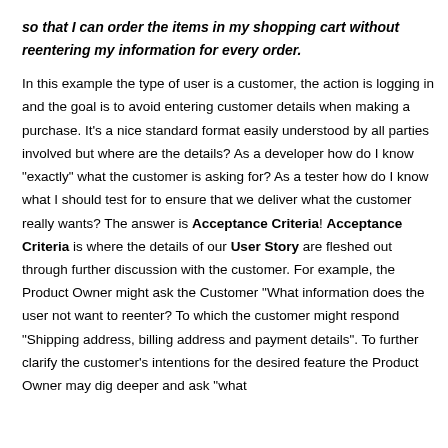so that I can order the items in my shopping cart without reentering my information for every order.
In this example the type of user is a customer, the action is logging in and the goal is to avoid entering customer details when making a purchase. It's a nice standard format easily understood by all parties involved but where are the details? As a developer how do I know "exactly" what the customer is asking for? As a tester how do I know what I should test for to ensure that we deliver what the customer really wants? The answer is Acceptance Criteria! Acceptance Criteria is where the details of our User Story are fleshed out through further discussion with the customer. For example, the Product Owner might ask the Customer "What information does the user not want to reenter? To which the customer might respond "Shipping address, billing address and payment details". To further clarify the customer's intentions for the desired feature the Product Owner may dig deeper and ask "what does payment details mean?". To which the customer might